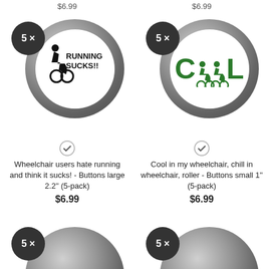$6.99
$6.99
[Figure (photo): Button badge showing wheelchair user with 'RUNNING SUCKS!!' text, 5x quantity badge, large 2.2 inch button]
Wheelchair users hate running and think it sucks! - Buttons large 2.2'' (5-pack)
$6.99
[Figure (photo): Button badge showing 'COOL' text with wheelchair user icons in green, 5x quantity badge, small 1 inch button]
Cool in my wheelchair, chill in wheelchair, roller - Buttons small 1'' (5-pack)
$6.99
[Figure (photo): Partial view of button badge with 5x quantity badge at bottom of page]
[Figure (photo): Partial view of button badge with 5x quantity badge at bottom of page]